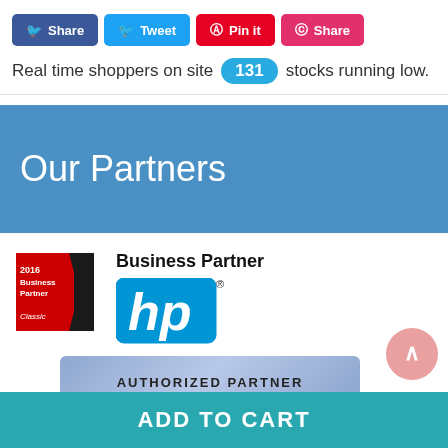[Figure (screenshot): Social sharing buttons row: Facebook Share (blue), Twitter Tweet (light blue), Pinterest Pin it (red), Instagram Share (pink)]
Real time shoppers on site 131 stocks running low.
Our Partners
[Figure (logo): Lenovo 2016 Business Partner Classic badge — red and black ribbon logo]
[Figure (logo): HP Business Partner logo with HP blue circle/hp text logo and 'Business Partner' text above]
[Figure (other): Blue/purple rounded rectangle strip showing 'AUTHORIZED PARTNER' text partially visible at bottom]
[Figure (other): Pink circular back-to-top arrow button at bottom right]